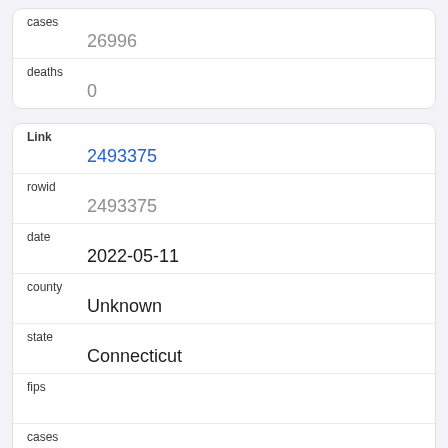| Field | Value |
| --- | --- |
| cases | 26996 |
| deaths | 0 |
| Field | Value |
| --- | --- |
| Link | 2493375 |
| rowid | 2493375 |
| date | 2022-05-11 |
| county | Unknown |
| state | Connecticut |
| fips |  |
| cases | 2368 |